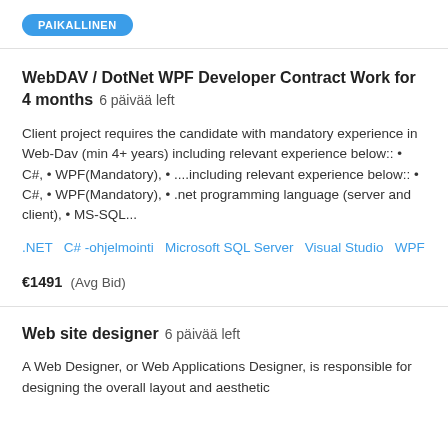PAIKALLINEN
WebDAV / DotNet WPF Developer Contract Work for 4 months  6 päivää left
Client project requires the candidate with mandatory experience in Web-Dav (min 4+ years) including relevant experience below:: • C#, • WPF(Mandatory), • ....including relevant experience below:: • C#, • WPF(Mandatory), • .net programming language (server and client), • MS-SQL...
.NET   C# -ohjelmointi   Microsoft SQL Server   Visual Studio   WPF
€1491  (Avg Bid)
Web site designer  6 päivää left
A Web Designer, or Web Applications Designer, is responsible for designing the overall layout and aesthetic